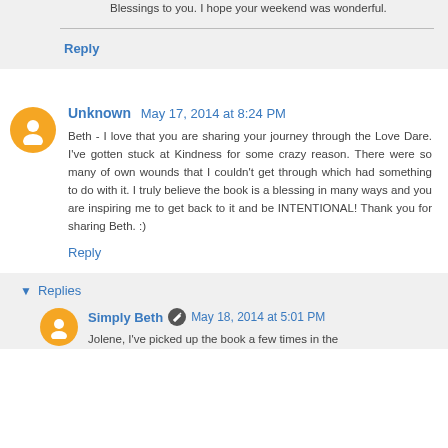Blessings to you. I hope your weekend was wonderful.
Reply
Unknown May 17, 2014 at 8:24 PM
Beth - I love that you are sharing your journey through the Love Dare. I've gotten stuck at Kindness for some crazy reason. There were so many of own wounds that I couldn't get through which had something to do with it. I truly believe the book is a blessing in many ways and you are inspiring me to get back to it and be INTENTIONAL! Thank you for sharing Beth. :)
Reply
Replies
Simply Beth May 18, 2014 at 5:01 PM
Jolene, I've picked up the book a few times in the